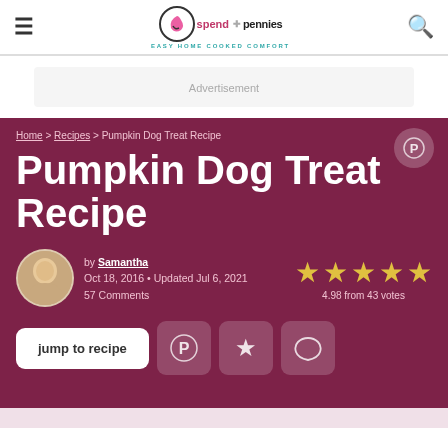spend with pennies — EASY HOME COOKED COMFORT
Pumpkin Dog Treat Recipe
Home > Recipes > Pumpkin Dog Treat Recipe
by Samantha
Oct 18, 2016 • Updated Jul 6, 2021
57 Comments
4.98 from 43 votes